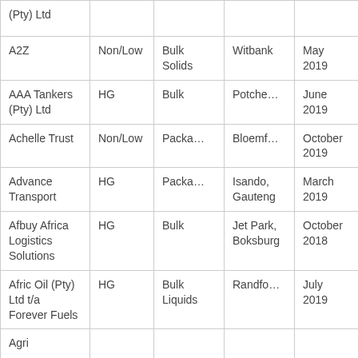| Company | Category | Type | Location | Date |
| --- | --- | --- | --- | --- |
| (Pty) Ltd |  |  |  |  |
| A2Z | Non/Low | Bulk Solids | Witbank | May 2019 |
| AAA Tankers (Pty) Ltd | HG | Bulk | Potche… | June 2019 |
| Achelle Trust | Non/Low | Packa… | Bloemf… | October 2019 |
| Advance Transport | HG | Packa… | Isando, Gauteng | March 2019 |
| Afbuy Africa Logistics Solutions | HG | Bulk | Jet Park, Boksburg | October 2018 |
| Afric Oil (Pty) Ltd t/a Forever Fuels | HG | Bulk Liquids | Randfo… | July 2019 |
| Agri |  |  |  |  |